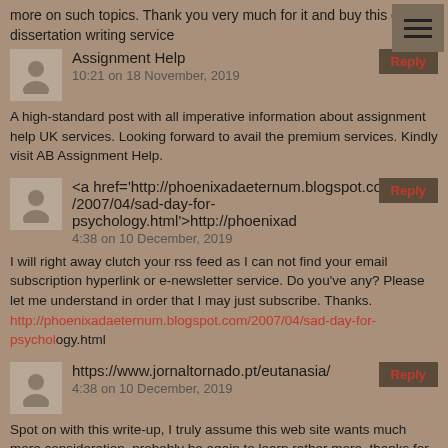more on such topics. Thank you very much for it and buy this cheap dissertation writing service
Assignment Help
10:21 on 18 November, 2019
A high-standard post with all imperative information about assignment help UK services. Looking forward to avail the premium services. Kindly visit AB Assignment Help.
<a href='http://phoenixadaeternum.blogspot.com/2007/04/sad-day-for-psychology.html'>http://phoenixad
4:38 on 10 December, 2019
I will right away clutch your rss feed as I can not find your email subscription hyperlink or e-newsletter service. Do you've any? Please let me understand in order that I may just subscribe. Thanks. http://phoenixadaeternum.blogspot.com/2007/04/sad-day-for-psychology.html
https://www.jornaltornado.pt/eutanasia/
4:38 on 10 December, 2019
Spot on with this write-up, I truly assume this web site wants much more consideration. probably be again to learn rather more, thanks for that info. https://www.jornaltornado.pt/eutanasia/